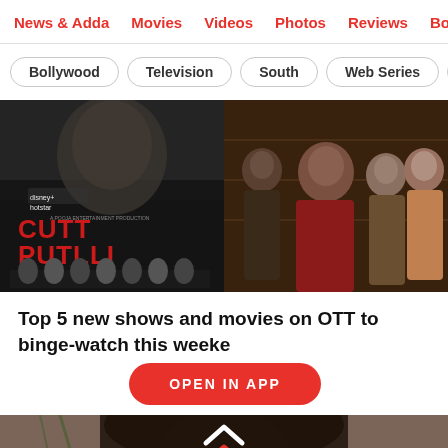News & Adda  Movies  Videos  Photos  Reviews  Bo...
Bollywood
Television
South
Web Series
Inte...
[Figure (photo): Left: Movie poster for Cuttputlli on Disney+ Hotstar showing dark thriller imagery with cast. Right: Still from a web series showing four characters in a tense scene.]
Top 5 new shows and movies on OTT to binge-watch this weekend!!
[Figure (infographic): Red rounded button overlay reading OPEN IN APP]
[Figure (photo): Bottom portion showing a woman's face, partially visible, with double up-arrow chevron icon overlay]